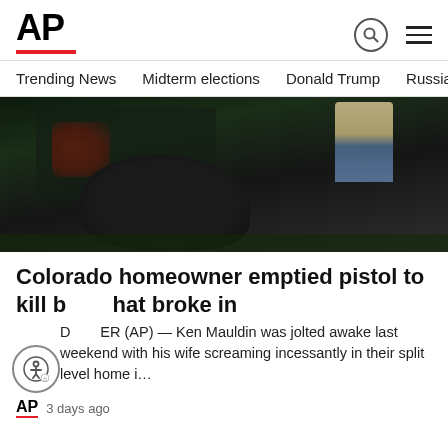AP
Trending News | Midterm elections | Donald Trump | Russia-Ukr
[Figure (photo): Nighttime photo of a law enforcement officer bending down next to a large black bear near a vehicle with red lights visible in the background.]
Colorado homeowner emptied pistol to kill b[ear] that broke in
DENVER (AP) — Ken Mauldin was jolted awake last weekend with his wife screaming incessantly in their split level home i…
AP  3 days ago